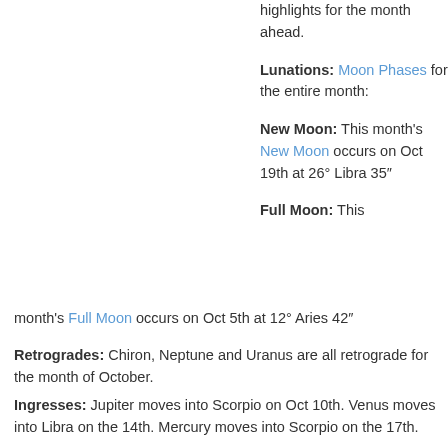highlights for the month ahead.
Lunations: Moon Phases for the entire month:
New Moon: This month's New Moon occurs on Oct 19th at 26° Libra 35″
Full Moon: This month's Full Moon occurs on Oct 5th at 12° Aries 42″
Retrogrades: Chiron, Neptune and Uranus are all retrograde for the month of October.
Ingresses: Jupiter moves into Scorpio on Oct 10th. Venus moves into Libra on the 14th. Mercury moves into Scorpio on the 17th.